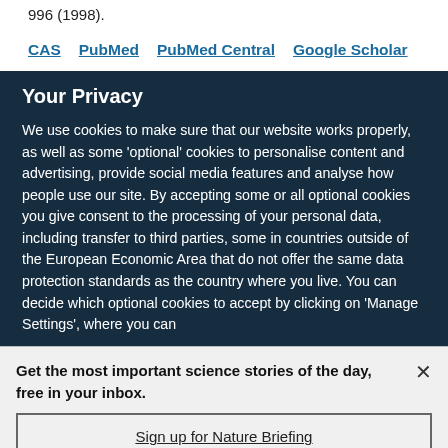996 (1998).
CAS   PubMed   PubMed Central   Google Scholar
Your Privacy
We use cookies to make sure that our website works properly, as well as some ‘optional’ cookies to personalise content and advertising, provide social media features and analyse how people use our site. By accepting some or all optional cookies you give consent to the processing of your personal data, including transfer to third parties, some in countries outside of the European Economic Area that do not offer the same data protection standards as the country where you live. You can decide which optional cookies to accept by clicking on ‘Manage Settings’, where you can
Get the most important science stories of the day, free in your inbox.
Sign up for Nature Briefing